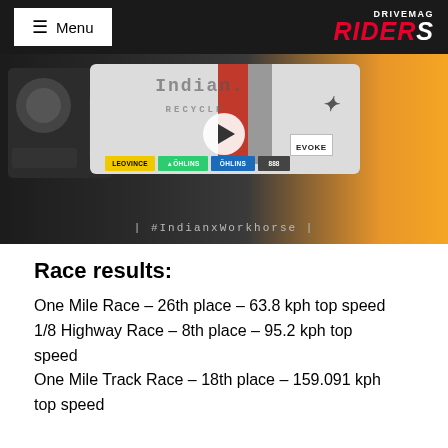≡ Menu | DRIVEMAG RIDERS
[Figure (photo): Video thumbnail of a racing motorcycle with Indian x Workhorse branding, showing engine and bodywork with sponsor stickers (EVOKE, Öhlins, etc.), with a play button overlay and hashtag #IndianxWorkhorse at the bottom.]
Race results:
One Mile Race – 26th place – 63.8 kph top speed
1/8 Highway Race – 8th place – 95.2 kph top speed
One Mile Track Race – 18th place – 159.091 kph top speed